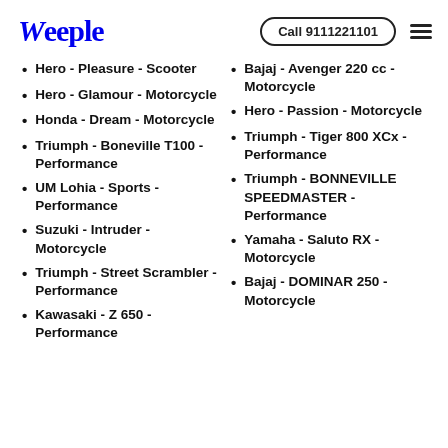Weeple | Call 9111221101
Hero - Pleasure - Scooter
Hero - Glamour - Motorcycle
Honda - Dream - Motorcycle
Triumph - Boneville T100 - Performance
UM Lohia - Sports - Performance
Suzuki - Intruder - Motorcycle
Triumph - Street Scrambler - Performance
Kawasaki - Z 650 - Performance
Bajaj - Avenger 220 cc - Motorcycle
Hero - Passion - Motorcycle
Triumph - Tiger 800 XCx - Performance
Triumph - BONNEVILLE SPEEDMASTER - Performance
Yamaha - Saluto RX - Motorcycle
Bajaj - DOMINAR 250 - Motorcycle